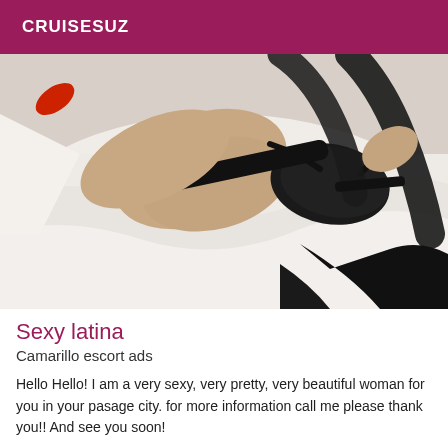CRUISESUZ
[Figure (photo): A woman in black lingerie lying on white bedding]
Sexy latina
Camarillo escort ads
Hello Hello! I am a very sexy, very pretty, very beautiful woman for you in your pasage city. for more information call me please thank you!! And see you soon!